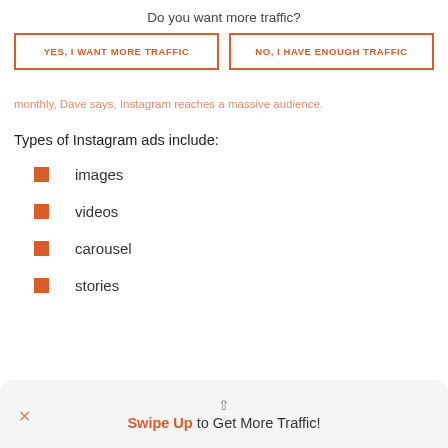Do you want more traffic?
YES, I WANT MORE TRAFFIC
NO, I HAVE ENOUGH TRAFFIC
monthly, Dave says, Instagram reaches a massive audience.
Types of Instagram ads include:
images
videos
carousel
stories
Swipe Up to Get More Traffic!